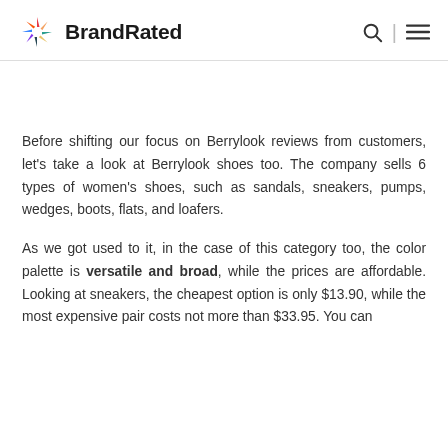BrandRated
Before shifting our focus on Berrylook reviews from customers, let's take a look at Berrylook shoes too. The company sells 6 types of women's shoes, such as sandals, sneakers, pumps, wedges, boots, flats, and loafers.
As we got used to it, in the case of this category too, the color palette is versatile and broad, while the prices are affordable. Looking at sneakers, the cheapest option is only $13.90, while the most expensive pair costs not more than $33.95. You can